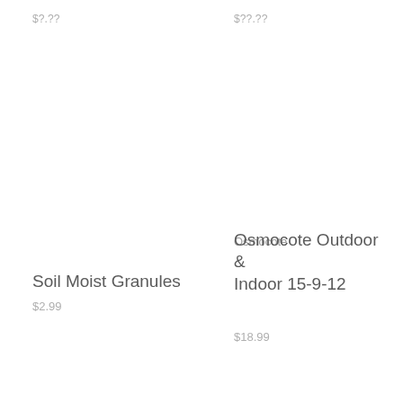$?.??
$??.??
Soil Moist Granules
$2.99
Osmocote
Osmocote Outdoor & Indoor 15-9-12
$18.99